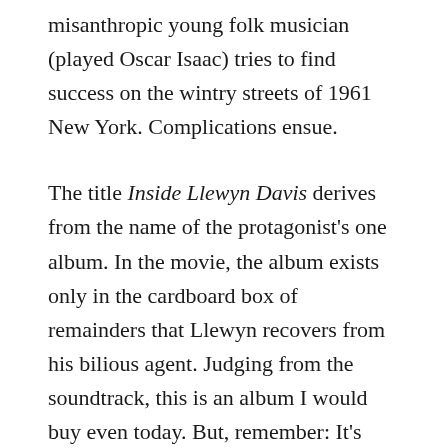misanthropic young folk musician (played Oscar Isaac) tries to find success on the wintry streets of 1961 New York. Complications ensue.
The title Inside Llewyn Davis derives from the name of the protagonist's one album. In the movie, the album exists only in the cardboard box of remainders that Llewyn recovers from his bilious agent. Judging from the soundtrack, this is an album I would buy even today. But, remember: It's 1961. Llewyn has arrived in Greenwich Village about 15 minutes too soon, just ahead of the Minnesota kid we now know as Bob Dylan.
Timing is everything. And one message of the